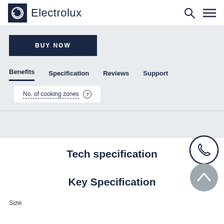[Figure (logo): Electrolux logo with circular arrow icon and brand name text]
BUY NOW
Benefits   Specification   Reviews   Support
No. of cooking zones ?
Tech specification
Key Specification
Size